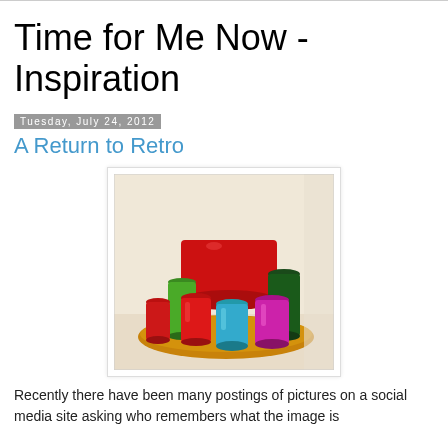Time for Me Now - Inspiration
Tuesday, July 24, 2012
A Return to Retro
[Figure (photo): Colorful retro anodized aluminum tumblers and a large bowl arranged on a round tray. Colors include red, green, dark green, teal/blue, magenta/purple, and other vibrant metallic shades.]
Recently there have been many postings of pictures on a social media site asking who remembers what the image is